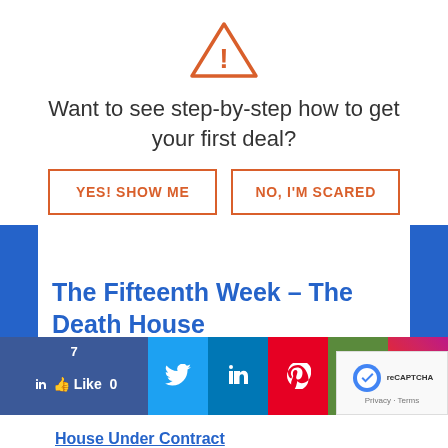[Figure (illustration): Orange warning triangle icon with exclamation mark]
Want to see step-by-step how to get your first deal?
YES! SHOW ME
NO, I'M SCARED
The Fifteenth Week – The Death House
House Under Contract
[Figure (screenshot): Social share bar with Facebook (7 likes), Twitter, LinkedIn, Pinterest, Email, Instagram icons, and reCAPTCHA badge]